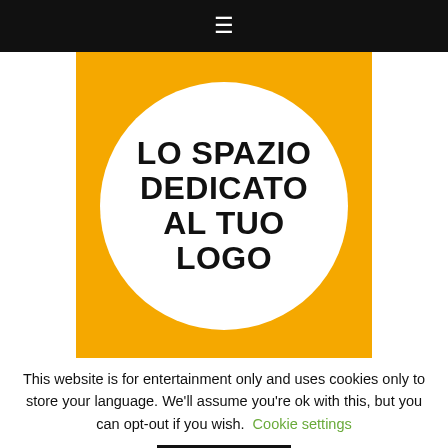≡
[Figure (logo): Orange square with white circle containing bold black text: LO SPAZIO DEDICATO AL TUO LOGO]
This website is for entertainment only and uses cookies only to store your language. We'll assume you're ok with this, but you can opt-out if you wish. Cookie settings
ACCEPT